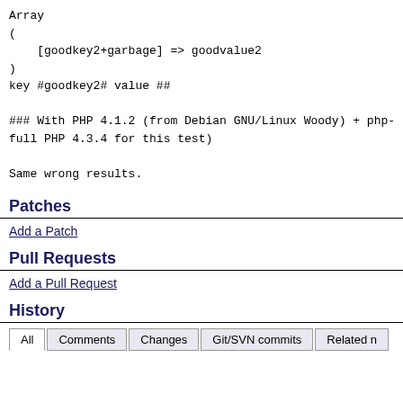Array
(
    [goodkey2+garbage] => goodvalue2
)
key #goodkey2# value ##

### With PHP 4.1.2 (from Debian GNU/Linux Woody) + php-
full PHP 4.3.4 for this test)

Same wrong results.
Patches
Add a Patch
Pull Requests
Add a Pull Request
History
All  Comments  Changes  Git/SVN commits  Related n